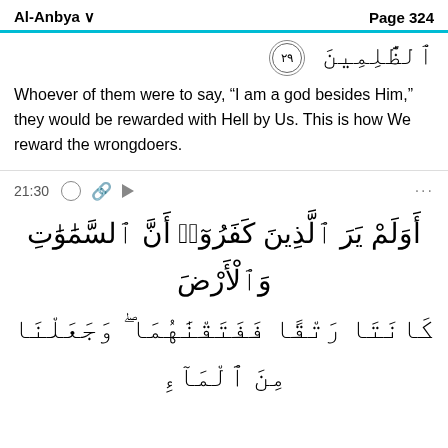Al-Anbya   Page 324
ٱلظَّٰلِمِينَ ﴿٢٩﴾
Whoever of them were to say, “I am a god besides Him,” they would be rewarded with Hell by Us. This is how We reward the wrongdoers.
21:30
أَوَلَمْ يَرَ ٱلَّذِينَ كَفَرُوٓا۟ أَنَّ ٱلسَّمَٰوَٰتِ وَٱلْأَرْضَ كَانَتَا رَتْقًا فَفَتَقْنَٰهُمَا ۖ وَجَعَلْنَا مِنَ ٱلْمَآءِ